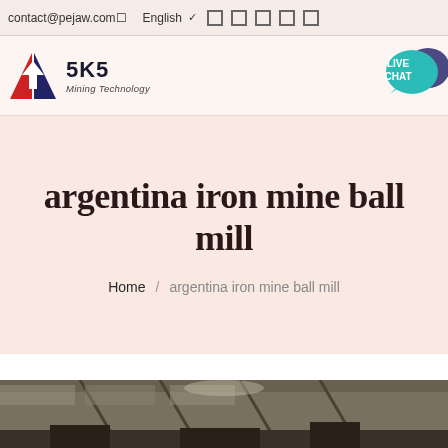contact@pejaw.com  English
[Figure (logo): SKS Mining Technology logo with stylized S icon in red and blue]
[Figure (illustration): Live Chat speech bubble icon in teal with dark blue chat bubble]
argentina iron mine ball mill
Home / argentina iron mine ball mill
[Figure (photo): Partial photo of industrial mining/factory interior showing roof structure]